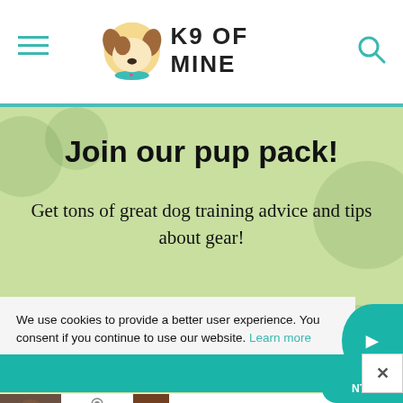K9 OF MINE
Join our pup pack!
Get tons of great dog training advice and tips about gear!
We use cookies to provide a better user experience. You consent if you continue to use our website. Learn more
Got it
[Figure (screenshot): Advertisement banner for Wellness Core dog food at PetSmart with text ADVANCED NUTRITION FOR A LIFETIME OF WELLBEING and LEARN MORE button]